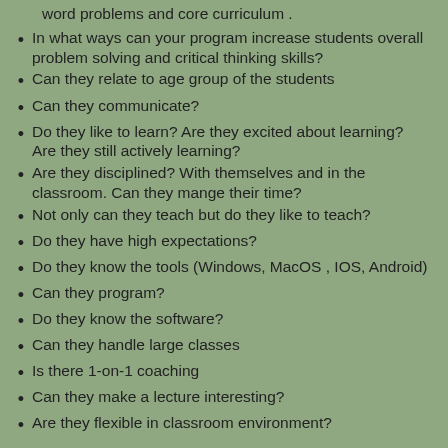word problems and core curriculum .
In what ways can your program increase students overall problem solving and critical thinking skills?
Can they relate to age group of the students
Can they communicate?
Do they like to learn? Are they excited about learning? Are they still actively learning?
Are they disciplined? With themselves and in the classroom. Can they mange their time?
Not only can they teach but do they like to teach?
Do they have high expectations?
Do they know the tools (Windows, MacOS , IOS, Android)
Can they program?
Do they know the software?
Can they handle large classes
Is there 1-on-1 coaching
Can they make a lecture interesting?
Are they flexible in classroom environment?